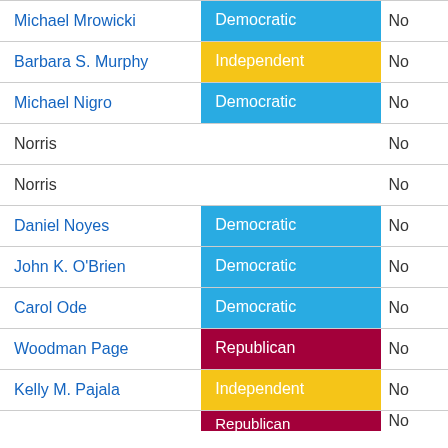| Name | Party | Vote |
| --- | --- | --- |
| Michael Mrowicki | Democratic | No |
| Barbara S. Murphy | Independent | No |
| Michael Nigro | Democratic | No |
| Norris |  | No |
| Norris |  | No |
| Daniel Noyes | Democratic | No |
| John K. O'Brien | Democratic | No |
| Carol Ode | Democratic | No |
| Woodman Page | Republican | No |
| Kelly M. Pajala | Independent | No |
| [partial] | Republican | No |